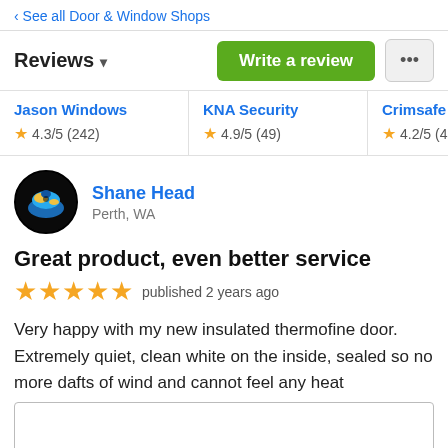‹ See all Door & Window Shops
Reviews ▾
Write a review
| Shop | Rating |
| --- | --- |
| Jason Windows | 4.3/5 (242) |
| KNA Security | 4.9/5 (49) |
| Crimsafe | 4.2/5 (420+) |
Shane Head
Perth, WA
Great product, even better service
★★★★★ published 2 years ago
Very happy with my new insulated thermofine door. Extremely quiet, clean white on the inside, sealed so no more dafts of wind and cannot feel any heat
The sales rep (Brad) was extremely helpful and